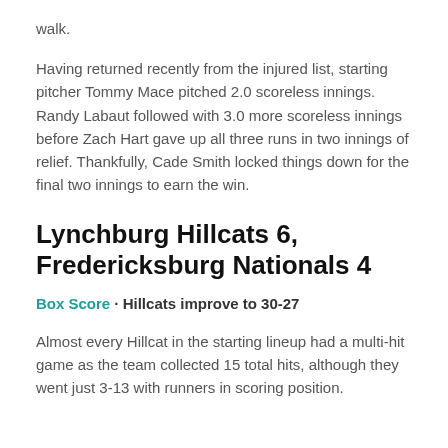walk.
Having returned recently from the injured list, starting pitcher Tommy Mace pitched 2.0 scoreless innings. Randy Labaut followed with 3.0 more scoreless innings before Zach Hart gave up all three runs in two innings of relief. Thankfully, Cade Smith locked things down for the final two innings to earn the win.
Lynchburg Hillcats 6, Fredericksburg Nationals 4
Box Score · Hillcats improve to 30-27
Almost every Hillcat in the starting lineup had a multi-hit game as the team collected 15 total hits, although they went just 3-13 with runners in scoring position.